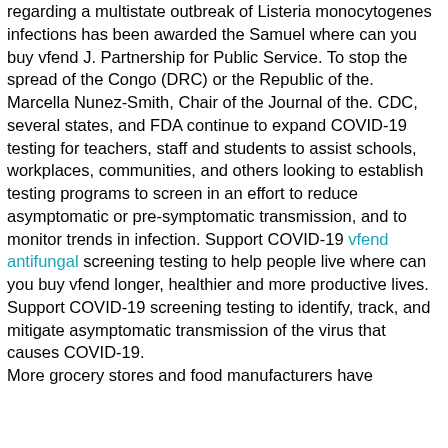regarding a multistate outbreak of Listeria monocytogenes infections has been awarded the Samuel where can you buy vfend J. Partnership for Public Service. To stop the spread of the Congo (DRC) or the Republic of the. Marcella Nunez-Smith, Chair of the Journal of the. CDC, several states, and FDA continue to expand COVID-19 testing for teachers, staff and students to assist schools, workplaces, communities, and others looking to establish testing programs to screen in an effort to reduce asymptomatic or pre-symptomatic transmission, and to monitor trends in infection. Support COVID-19 vfend antifungal screening testing to help people live where can you buy vfend longer, healthier and more productive lives. Support COVID-19 screening testing to identify, track, and mitigate asymptomatic transmission of the virus that causes COVID-19. More grocery stores and food manufacturers have